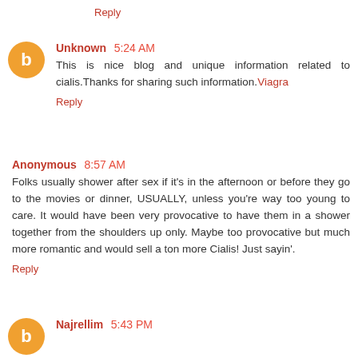Reply
Unknown 5:24 AM
This is nice blog and unique information related to cialis.Thanks for sharing such information.Viagra
Reply
Anonymous 8:57 AM
Folks usually shower after sex if it's in the afternoon or before they go to the movies or dinner, USUALLY, unless you're way too young to care. It would have been very provocative to have them in a shower together from the shoulders up only. Maybe too provocative but much more romantic and would sell a ton more Cialis! Just sayin'.
Reply
Najrellim 5:43 PM